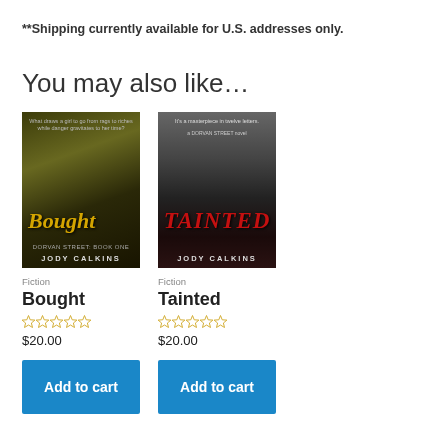**Shipping currently available for U.S. addresses only.
You may also like…
[Figure (illustration): Book cover of 'Bought' by Jody Calkins — dark urban street scene with yellow-gold title text]
Fiction
Bought
☆☆☆☆☆
$20.00
Add to cart
[Figure (illustration): Book cover of 'Tainted' by Jody Calkins — dark urban/city scene with red title text]
Fiction
Tainted
☆☆☆☆☆
$20.00
Add to cart